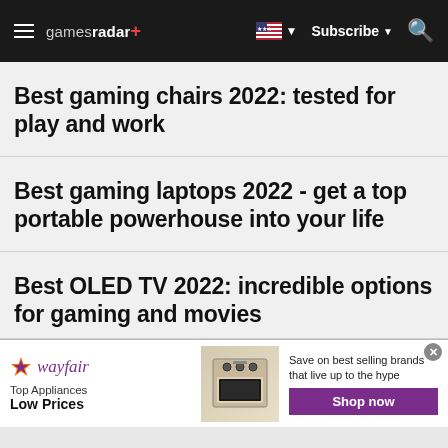gamesradar+ | Subscribe | Search
Best gaming chairs 2022: tested for play and work
Best gaming laptops 2022 - get a top portable powerhouse into your life
Best OLED TV 2022: incredible options for gaming and movies
[Figure (infographic): Wayfair advertisement banner: Top Appliances Low Prices, Save on best selling brands that live up to the hype, Shop now button, image of stove/range appliance]